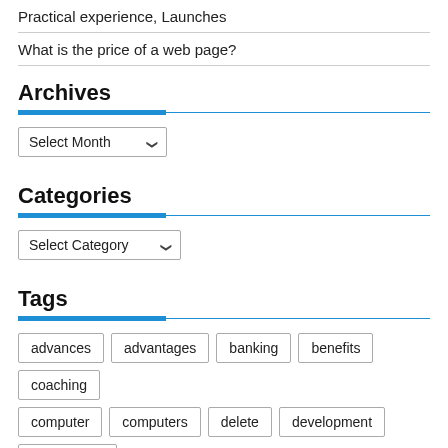Practical experience, Launches
What is the price of a web page?
Archives
[Figure (other): Select Month dropdown widget]
Categories
[Figure (other): Select Category dropdown widget]
Tags
advances
advantages
banking
benefits
coaching
computer
computers
delete
development
engineering